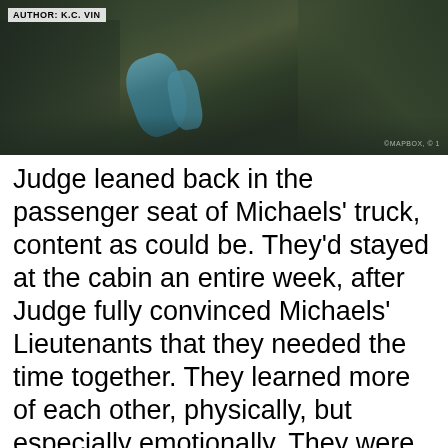[Figure (photo): Aerial or satellite view of a mountain canyon with a turquoise river running through rocky terrain. Author tag visible in top-left corner reading 'AUTHOR: K.C. VIN' and a watermark in bottom-right corner.]
Judge leaned back in the passenger seat of Michaels' truck, content as could be. They'd stayed at the cabin an entire week, after Judge fully convinced Michaels' Lieutenants that they needed the time together. They learned more of each other, physically, but especially emotionally. They were compatible on so many levels. Both men as simple as the days. Relationships were scary and took work, but Judge believed theirs would come easily. Why he'd had such negative thoughts in the beginning was a mystery to him. He knew Michaels loved him, really loved him. Nothing was guaranteed, life didn't promise tomorrow. Michaels was a cop, he had a dangerous job, so Judge would have to learn to trust in his partner's instincts and